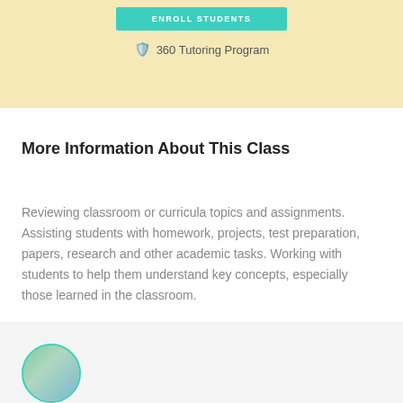[Figure (other): Teal/green enroll button and 360 Tutoring Program badge on a light yellow banner background]
More Information About This Class
Reviewing classroom or curricula topics and assignments. Assisting students with homework, projects, test preparation, papers, research and other academic tasks. Working with students to help them understand key concepts, especially those learned in the classroom.
[Figure (photo): Circular avatar photo of a person, cropped at bottom of page]